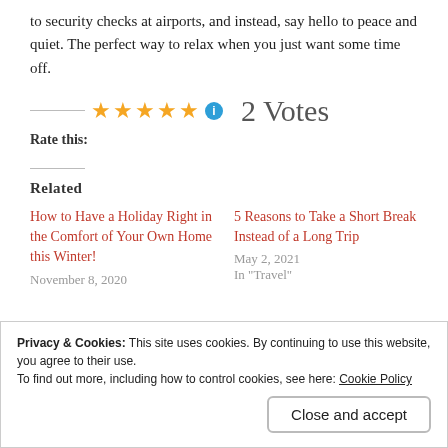to security checks at airports, and instead, say hello to peace and quiet. The perfect way to relax when you just want some time off.
★★★★★  2 Votes
Rate this:
Related
How to Have a Holiday Right in the Comfort of Your Own Home this Winter!
November 8, 2020
5 Reasons to Take a Short Break Instead of a Long Trip
May 2, 2021
In "Travel"
Privacy & Cookies: This site uses cookies. By continuing to use this website, you agree to their use.
To find out more, including how to control cookies, see here: Cookie Policy
[Close and accept]